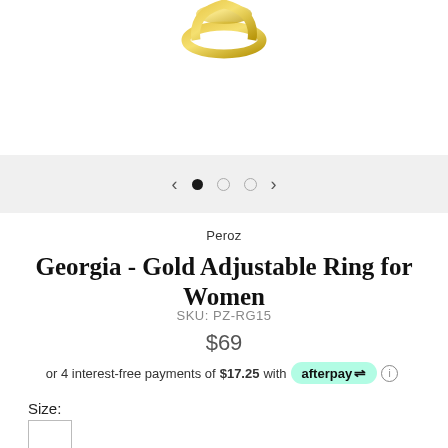[Figure (photo): Partial view of a gold adjustable ring against white background]
Peroz
Georgia - Gold Adjustable Ring for Women
SKU: PZ-RG15
$69
or 4 interest-free payments of $17.25 with afterpay
Size: